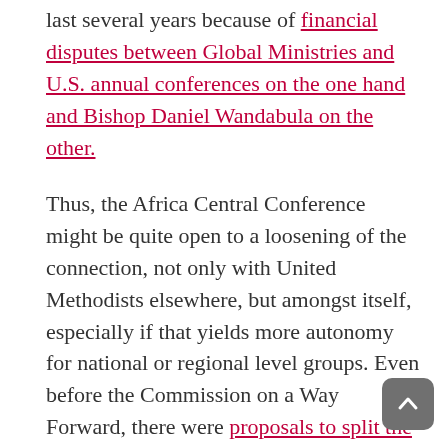last several years because of financial disputes between Global Ministries and U.S. annual conferences on the one hand and Bishop Daniel Wandabula on the other.
Thus, the Africa Central Conference might be quite open to a loosening of the connection, not only with United Methodists elsewhere, but amongst itself, especially if that yields more autonomy for national or regional level groups. Even before the Commission on a Way Forward, there were proposals to split the Africa Central Conference into four. If the Commission proposes an approach that allows sub-units of the UMC to craft their own Books of Discipline, there is no reason to expect